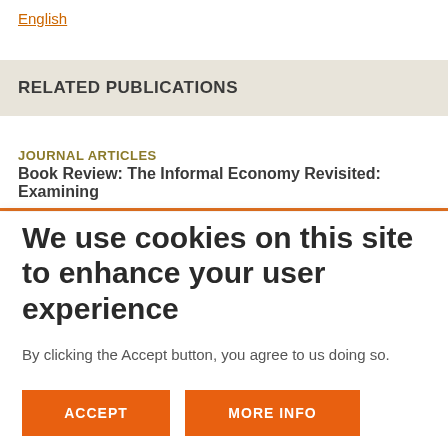English
RELATED PUBLICATIONS
JOURNAL ARTICLES
Book Review: The Informal Economy Revisited: Examining
We use cookies on this site to enhance your user experience
By clicking the Accept button, you agree to us doing so.
ACCEPT
MORE INFO